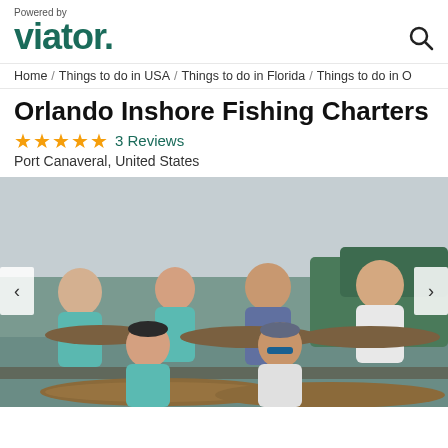Powered by viator.
Home / Things to do in USA / Things to do in Florida / Things to do in O
Orlando Inshore Fishing Charters
★★★★★ 3 Reviews
Port Canaveral, United States
[Figure (photo): Group of six people on a fishing charter boat holding large redfish/trout catches. Four adults standing in back row, two younger people in front row. Wearing light blue and white fishing shirts. Waterway and green trees visible in background.]